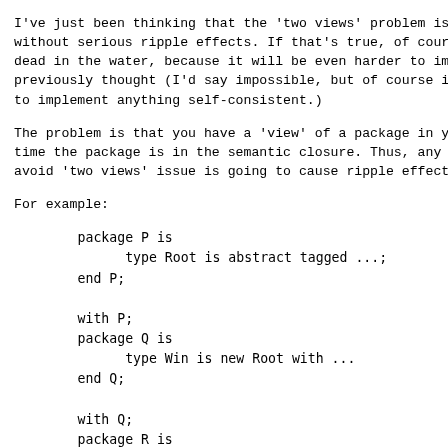I've just been thinking that the 'two views' problem is i
without serious ripple effects. If that's true, of course
dead in the water, because it will be even harder to impl
previously thought (I'd say impossible, but of course it
to implement anything self-consistent.)
The problem is that you have a 'view' of a package in you
time the package is in the semantic closure. Thus, any ru
avoid 'two views' issue is going to cause ripple effects
For example:
package P is
              type Root is abstract tagged ...;
        end P;

        with P;
        package Q is
              type Win is new Root with ...
        end Q;

        with Q;
        package R is
              Main : Q.Win;
        end R;

        limited with P;
        with Q, R;
        package S is